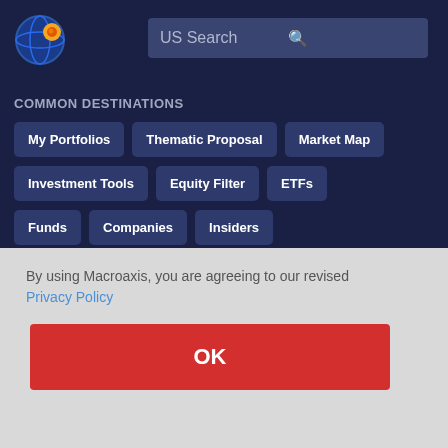[Figure (logo): Macroaxis globe logo with orange and blue colors]
US Search
COMMON DESTINATIONS
My Portfolios
Thematic Proposal
Market Map
Investment Tools
Equity Filter
ETFs
Funds
Companies
Insiders
By using Macroaxis, you are agreeing to our revised Privacy Policy
OK